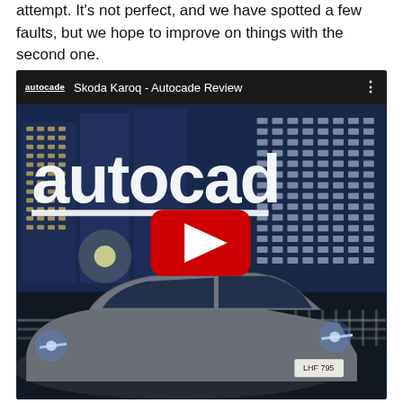attempt. It's not perfect, and we have spotted a few faults, but we hope to improve on things with the second one.
[Figure (screenshot): YouTube video embed showing 'Skoda Karoq - Autocade Review' with a night photo of a Skoda Karoq SUV in front of an illuminated city building. The video has a red YouTube play button overlay in the center. The video header shows the autocade logo and title on a dark background.]